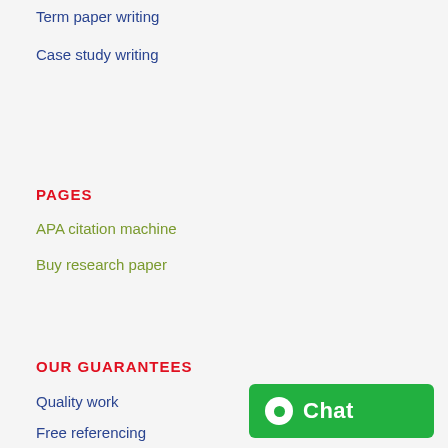Term paper writing
Case study writing
PAGES
APA citation machine
Buy research paper
OUR GUARANTEES
Quality work
Free referencing
[Figure (other): Green chat button with chat bubble icon and 'Chat' text]